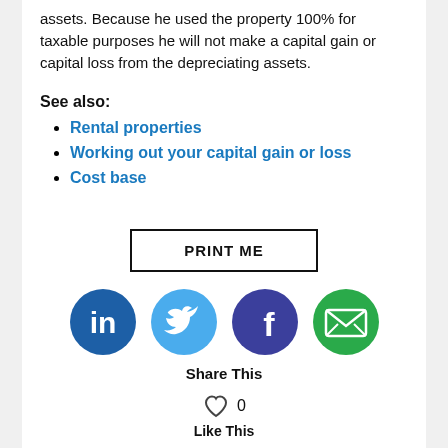assets. Because he used the property 100% for taxable purposes he will not make a capital gain or capital loss from the depreciating assets.
See also:
Rental properties
Working out your capital gain or loss
Cost base
[Figure (other): PRINT ME button with black border]
[Figure (infographic): Social share icons: LinkedIn (dark blue), Twitter (light blue), Facebook (dark blue/purple), Email (green). Share This label below. Heart icon with 0 count. Like This label.]